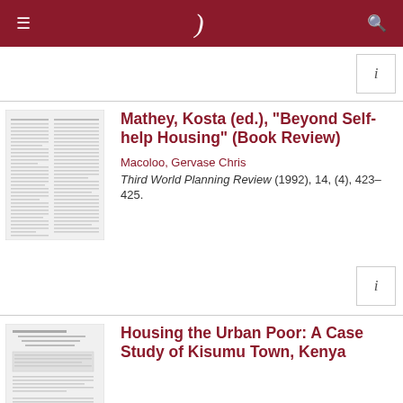≡  )  🔍
[Figure (screenshot): Scanned document thumbnail for 'Beyond Self-help Housing' book review]
Mathey, Kosta (ed.), "Beyond Self-help Housing" (Book Review)
Macoloo, Gervase Chris
Third World Planning Review (1992), 14, (4), 423–425.
[Figure (screenshot): Scanned document thumbnail for 'Housing the Urban Poor: A Case Study of Kisumu Town, Kenya']
Housing the Urban Poor: A Case Study of Kisumu Town, Kenya
Macoloo, Gervase Chris